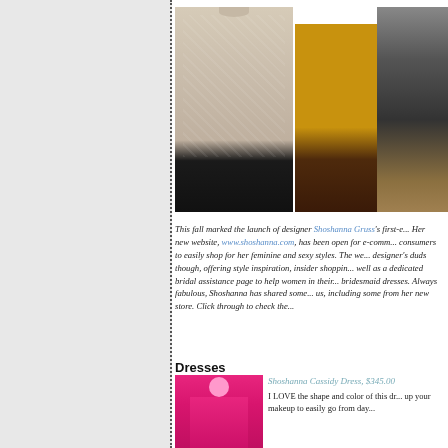[Figure (photo): Three fashion photos side by side: a woman in a beige cable-knit sweater with black pants, yellow skinny jeans with brown boots, and a pair of dark lace-up winter boots]
This fall marked the launch of designer Shoshanna Gruss's first-e... Her new website, www.shoshanna.com, has been open for e-comm... consumers to easily shop for her feminine and sexy styles. The we... designer's duds though, offering style inspiration, insider shoppin... well as a dedicated bridal assistance page to help women in their... bridesmaid dresses. Always fabulous, Shoshanna has shared some... us, including some from her new store. Click through to check the...
Dresses
[Figure (photo): Woman in a bright pink/magenta short-sleeve fitted dress]
Shoshanna Cassidy Dress, $345.00
I LOVE the shape and color of this dr... up your makeup to easily go from day...